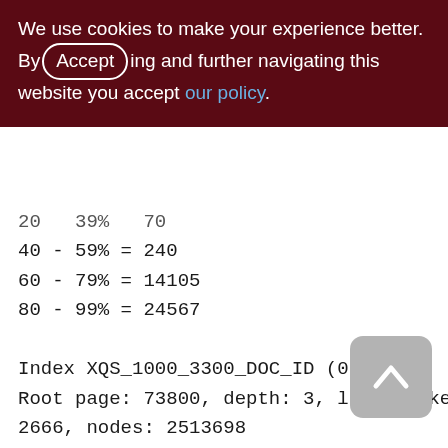We use cookies to make your experience better. By accepting and further navigating this website you accept our policy.
20 - 39% = 70
40 - 59% = 240
60 - 79% = 14105
80 - 99% = 24567

Index XQS_1000_3300_DOC_ID (0)
Root page: 73800, depth: 3, leaf buckets: 2666, nodes: 2513698
Average node length: 5.15, total dup: 2455096, max dup: 169
Average key length: 2.18, compression ratio: 4.14
Average prefix length: 8.85, average data
[Figure (other): Back to top button - grey rounded rectangle with upward chevron arrow]